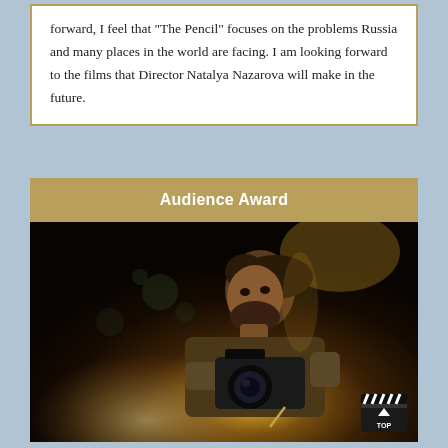forward, I feel that "The Pencil" focuses on the problems Russia and many places in the world are facing. I am looking forward to the films that Director Natalya Nazarova will make in the future.
Audience Award
[Figure (photo): A bearded man with dark hair holding a professional camera, photographed against a dark warm-toned bokeh background with golden light. A film clapperboard icon is visible in the bottom right corner.]